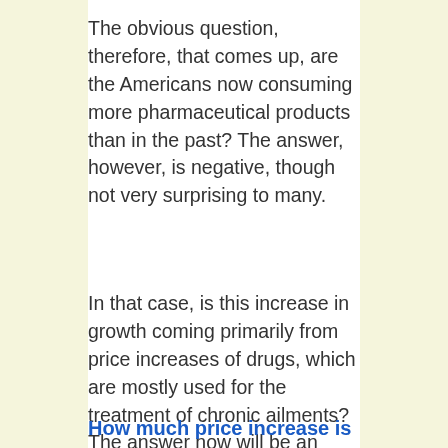The obvious question, therefore, that comes up, are the Americans now consuming more pharmaceutical products than in the past? The answer, however, is negative, though not very surprising to many.
In that case, is this increase in growth coming primarily from price increases of drugs, which are mostly used for the treatment of chronic ailments? The answer now will be an affirmative one.
How much price increase is